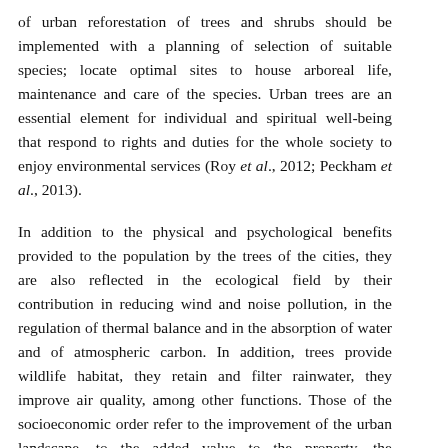of urban reforestation of trees and shrubs should be implemented with a planning of selection of suitable species; locate optimal sites to house arboreal life, maintenance and care of the species. Urban trees are an essential element for individual and spiritual well-being that respond to rights and duties for the whole society to enjoy environmental services (Roy et al., 2012; Peckham et al., 2013).
In addition to the physical and psychological benefits provided to the population by the trees of the cities, they are also reflected in the ecological field by their contribution in reducing wind and noise pollution, in the regulation of thermal balance and in the absorption of water and of atmospheric carbon. In addition, trees provide wildlife habitat, they retain and filter rainwater, they improve air quality, among other functions. Those of the socioeconomic order refer to the improvement of the urban landscape, to the added value to the property, the environmental education and the tranquility that they propitiate with their shade and protection.